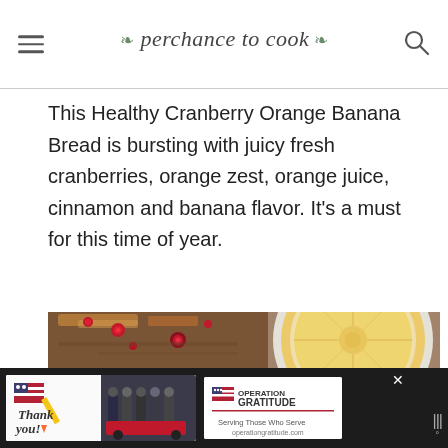perchance to cook
This Healthy Cranberry Orange Banana Bread is bursting with juicy fresh cranberries, orange zest, orange juice, cinnamon and banana flavor. It’s a must for this time of year.
[Figure (photo): Close-up photo of sliced cranberry orange banana bread with visible cranberries embedded in the golden-brown loaf, next to a halved orange/lemon showing the citrus interior]
[Figure (photo): Advertisement banner at the bottom: 'Thank you!' Operation Gratitude ad with image of firefighters and patriotic imagery]